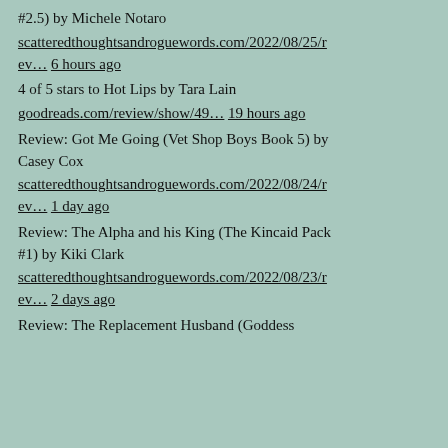#2.5) by Michele Notaro
scatteredthoughtsandroguewords.com/2022/08/25/rev… 6 hours ago
4 of 5 stars to Hot Lips by Tara Lain
goodreads.com/review/show/49… 19 hours ago
Review: Got Me Going (Vet Shop Boys Book 5) by Casey Cox
scatteredthoughtsandroguewords.com/2022/08/24/rev… 1 day ago
Review: The Alpha and his King (The Kincaid Pack #1) by Kiki Clark
scatteredthoughtsandroguewords.com/2022/08/23/rev… 2 days ago
Review: The Replacement Husband (Goddess